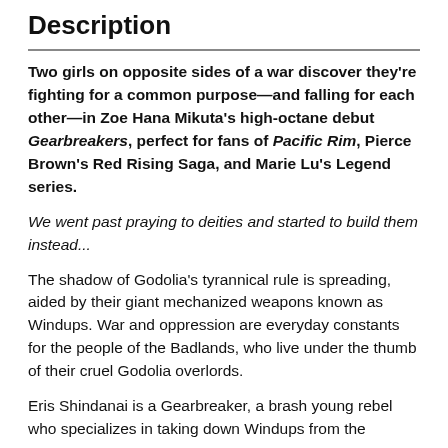Description
Two girls on opposite sides of a war discover they're fighting for a common purpose—and falling for each other—in Zoe Hana Mikuta's high-octane debut Gearbreakers, perfect for fans of Pacific Rim, Pierce Brown's Red Rising Saga, and Marie Lu's Legend series.
We went past praying to deities and started to build them instead...
The shadow of Godolia's tyrannical rule is spreading, aided by their giant mechanized weapons known as Windups. War and oppression are everyday constants for the people of the Badlands, who live under the thumb of their cruel Godolia overlords.
Eris Shindanai is a Gearbreaker, a brash young rebel who specializes in taking down Windups from the